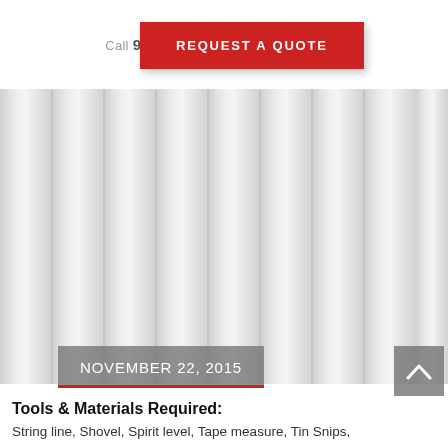Call 9242 3344 or [mail icon] | f G+ [twitter] [youtube]
REQUEST A QUOTE
[Figure (photo): Corrugated metal/iron roofing panel, light grey, viewed up close showing vertical ridges and grooves]
NOVEMBER 22, 2015
Tools & Materials Required:
String line, Shovel, Spirit level, Tape measure, Tin Snips,